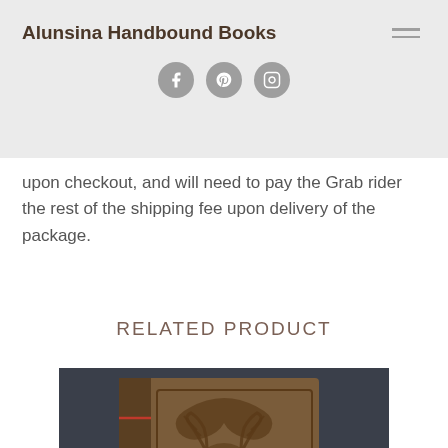Alunsina Handbound Books
upon checkout, and will need to pay the Grab rider the rest of the shipping fee upon delivery of the package.
RELATED PRODUCT
[Figure (photo): A handbound book with ornate carved/embossed leather cover featuring a deer or stag design with decorative scrollwork, spine visible with red binding thread, held in a hand against a dark background.]